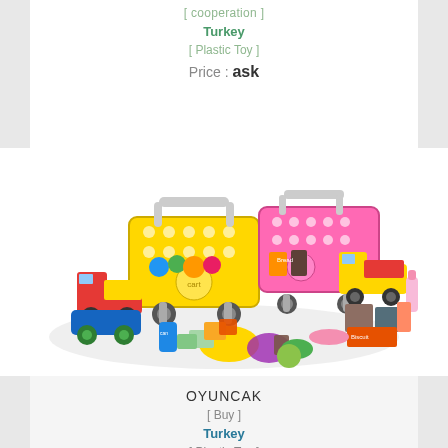[ cooperation ]
Turkey
[ Plastic Toy ]
Price : ask
[Figure (photo): Two toy shopping carts (yellow and pink) surrounded by plastic toy food items, small toy trucks, and other colorful play accessories arranged in an oval composition on a white background.]
OYUNCAK
[ Buy ]
Turkey
[ Plastic Toy ]